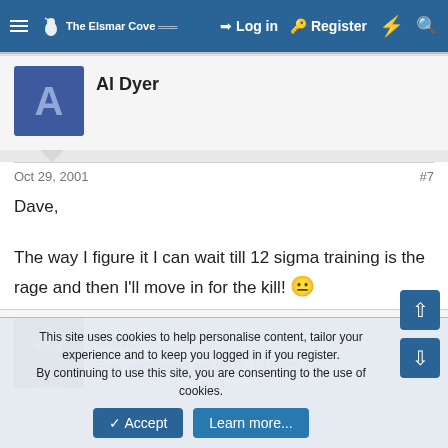The Elsmar Cove | Log in | Register
Al Dyer
Oct 29, 2001  #7
Dave,

The way I figure it I can wait till 12 sigma training is the rage and then I'll move in for the kill! 😐
Marc
Fully vaccinated are you?  Leader
This site uses cookies to help personalise content, tailor your experience and to keep you logged in if you register.
By continuing to use this site, you are consenting to the use of cookies.